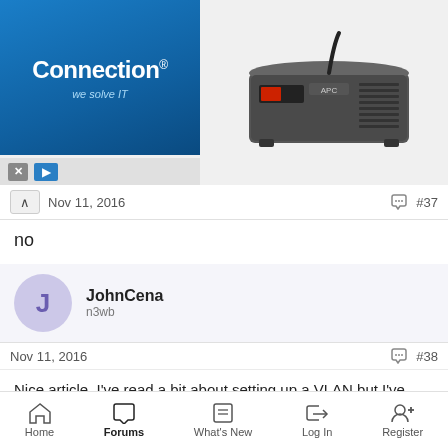[Figure (screenshot): Advertisement banner with 'Connection we solve IT' logo on the left and a UPS/battery backup product image on the right]
Nov 11, 2016   #37
no
JohnCena
n3wb
Nov 11, 2016   #38
Nice article. I've read a bit about setting up a VLAN but I've decided against it mostly because I'm pretty dumb when it comes to setting network stuff up, setting up OpenVPN on my router was difficult enough. Should have went for an Asus one!
Home   Forums   What's New   Log In   Register